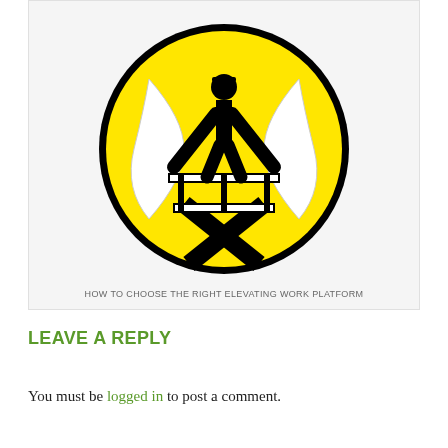[Figure (illustration): Safety/warning sign illustration: yellow circle with black border containing a silhouette of a worker with hard hat standing on an elevated work platform (scissor lift), arms outstretched, with white ribbon/banner shapes in background and black X cross pattern below the platform. Text below reads: HOW TO CHOOSE THE RIGHT ELEVATING WORK PLATFORM]
HOW TO CHOOSE THE RIGHT ELEVATING WORK PLATFORM
LEAVE A REPLY
You must be logged in to post a comment.